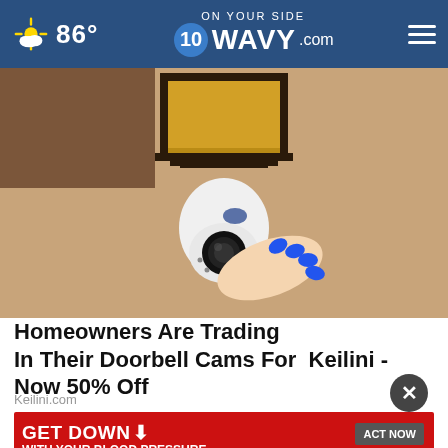86° WAVY.com ON YOUR SIDE
[Figure (photo): A person with blue painted fingernails holding a white security/surveillance camera mounted beneath a black metal wall lantern fixture on a stucco wall]
Homeowners Are Trading In Their Doorbell Cams For Keilini - Now 50% Off
Keilini.com
[Figure (infographic): Red advertisement banner: GET DOWN WITH YOUR BLOOD PRESSURE, In partnership with the Office of Minority Health and Health Resources & Services Administration. ACT NOW button. Ad Council, American Heart Association, AMA logos.]